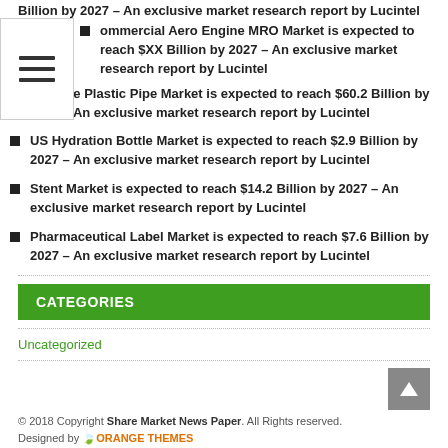Billion by 2027 – An exclusive market research report by Lucintel
Commercial Aero Engine MRO Market is expected to reach $XX Billion by 2027 – An exclusive market research report by Lucintel
Chinese Plastic Pipe Market is expected to reach $60.2 Billion by 2027 – An exclusive market research report by Lucintel
US Hydration Bottle Market is expected to reach $2.9 Billion by 2027 – An exclusive market research report by Lucintel
Stent Market is expected to reach $14.2 Billion by 2027 – An exclusive market research report by Lucintel
Pharmaceutical Label Market is expected to reach $7.6 Billion by 2027 – An exclusive market research report by Lucintel
CATEGORIES
Uncategorized
© 2018 Copyright Share Market News Paper. All Rights reserved. Designed by ORANGE THEMES